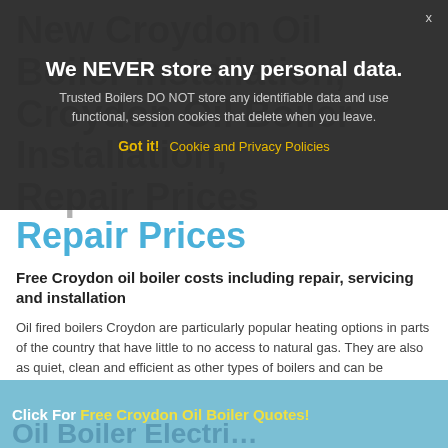We NEVER store any personal data.
Trusted Boilers DO NOT store any identifiable data and use functional, session cookies that delete when you leave.
Got it!  Cookie and Privacy Policies
New Croydon Oil Boiler Installation, Croydon Oil Boiler Repair Prices
Free Croydon oil boiler costs including repair, servicing and installation
Oil fired boilers Croydon are particularly popular heating options in parts of the country that have little to no access to natural gas. They are also as quiet, clean and efficient as other types of boilers and can be installed outside if necessary when space in the home is limited. All work done on Croydon oil boilers, from installation to maintenance to repairs, must be done by an Oil Firing Technical Association (OFTEC) registered technician.
Click For Free Croydon Oil Boiler Quotes!